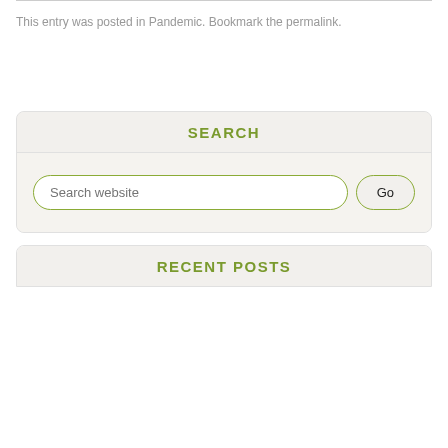This entry was posted in Pandemic. Bookmark the permalink.
SEARCH
Search website
RECENT POSTS